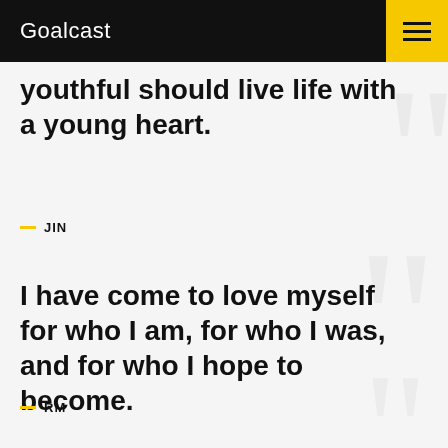Goalcast
youthful should live life with a young heart.
— JIN
I have come to love myself for who I am, for who I was, and for who I hope to become.
— RM